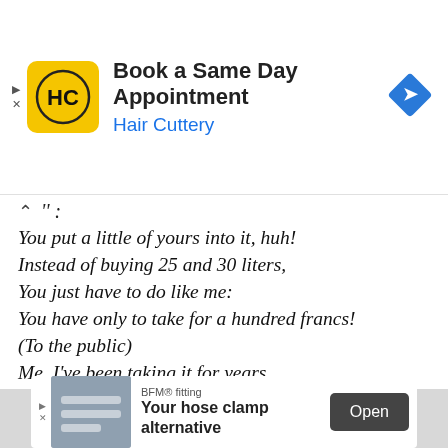[Figure (screenshot): Hair Cuttery advertisement banner: yellow HC logo, 'Book a Same Day Appointment' title, 'Hair Cuttery' subtitle in blue, blue navigation diamond icon on right]
You put a little of yours into it, huh!
Instead of buying 25 and 30 liters,
You just have to do like me:
You have only to take for a hundred francs!
(To the public)
Me, I've been taking it for years.
For a hundred francs…
I have always paid the same price!
He tells me :
[Figure (screenshot): BFM fitting advertisement: 'Your hose clamp alternative' with an Open button]
ADVERTISEMENT